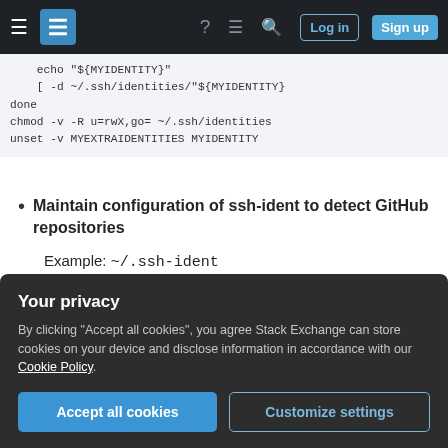Stack Exchange navigation bar with hamburger menu, logo, help, chat, search icons, Log in and Sign up buttons
echo "${MYIDENTITY}"
    [ -d ~/.ssh/identities/"${MYIDENTITY}
done
chmod -v -R u=rwX,go= ~/.ssh/identities
unset -v MYEXTRAIDENTITIES MYIDENTITY
Maintain configuration of ssh-ident to detect GitHub repositories
Example: ~/.ssh-ident
...
MATCH_ARGV = [
    (r"\s(git@)?github\.com\s.*'my-git-us
Your privacy
By clicking "Accept all cookies", you agree Stack Exchange can store cookies on your device and disclose information in accordance with our Cookie Policy.
Accept all cookies | Customize settings